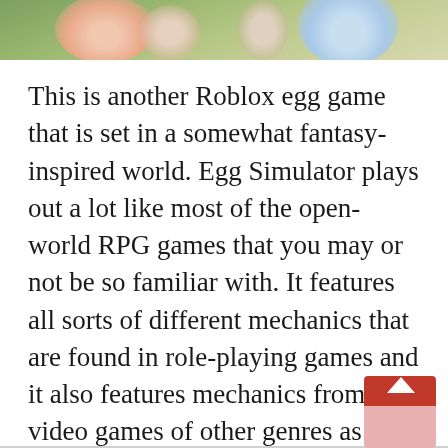[Figure (photo): Top banner image showing a fantasy-inspired scene with colorful characters, partial view cropped at top of page]
This is another Roblox egg game that is set in a somewhat fantasy-inspired world. Egg Simulator plays out a lot like most of the open-world RPG games that you may or not be so familiar with. It features all sorts of different mechanics that are found in role-playing games and it also features mechanics from video games of other genres as well. You take control of an egg, as obvious from the name of the game.